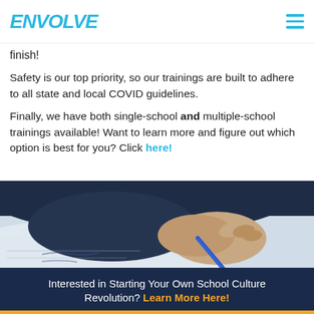ENVOLVE
finish!
Safety is our top priority, so our trainings are built to adhere to all state and local COVID guidelines.
Finally, we have both single-school and multiple-school trainings available! Want to learn more and figure out which option is best for you? Click here!
[Figure (photo): Close-up photo of hands writing with a blue pen on paper, person wearing dark navy clothing]
Interested in Starting Your Own School Culture Revolution? Learn More Here!